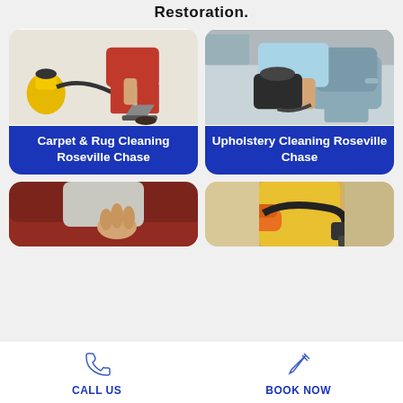Restoration.
[Figure (photo): Person in red pants using carpet cleaning machine on floor with yellow vacuum cleaner nearby]
Carpet & Rug Cleaning Roseville Chase
[Figure (photo): Person in light blue shirt using upholstery cleaning equipment on a grey office chair]
Upholstery Cleaning Roseville Chase
[Figure (photo): Person in grey shirt cleaning dark brown leather sofa]
[Figure (photo): Person in yellow outfit with orange gloves using vacuum cleaning equipment]
CALL US   BOOK NOW